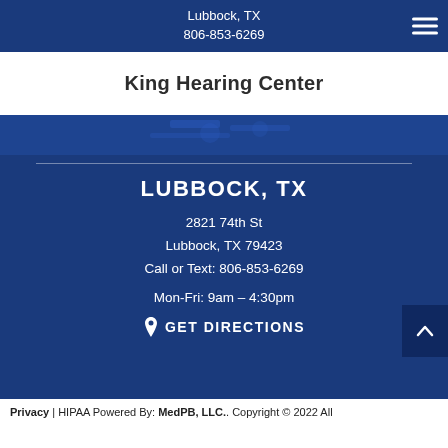Lubbock, TX
806-853-6269
King Hearing Center
[Figure (other): Partial map/location image on dark blue background]
LUBBOCK, TX
2821 74th St
Lubbock, TX 79423
Call or Text: 806-853-6269
Mon-Fri: 9am – 4:30pm
📍 GET DIRECTIONS
Privacy | HIPAA Powered By: MedPB, LLC.. Copyright © 2022 All